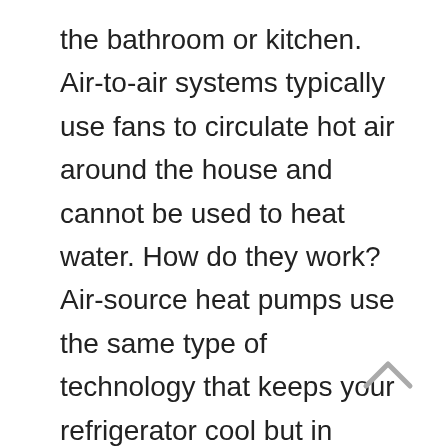the bathroom or kitchen. Air-to-air systems typically use fans to circulate hot air around the house and cannot be used to heat water. How do they work?Air-source heat pumps use the same type of technology that keeps your refrigerator cool but in reverse. A liquid refrigerant that has a very low boiling point is pumped into a circuit between two heat exchangers. This refrigerant receives thermal energy from the outside ambient air temperature and turns it into a gas as it heats up. This gas is then compressed back into a liquid, which further raises its temperature. The hot coolant then passes through a heat exchanger, which transfers heat to a separate body of water to circulate